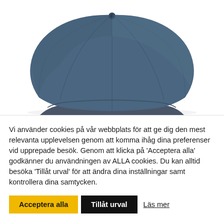[Figure (photo): A navy blue baseball cap viewed from the side/front, showing the rounded crown with panel seams and a small button on top, against a white background. The cap is cut off at the brim at the bottom of the image.]
Vi använder cookies på vår webbplats för att ge dig den mest relevanta upplevelsen genom att komma ihåg dina preferenser vid upprepade besök. Genom att klicka på 'Acceptera alla' godkänner du användningen av ALLA cookies. Du kan alltid besöka 'Tillåt urval' för att ändra dina inställningar samt kontrollera dina samtycken.
Acceptera alla | Tillåt urval | Läs mer